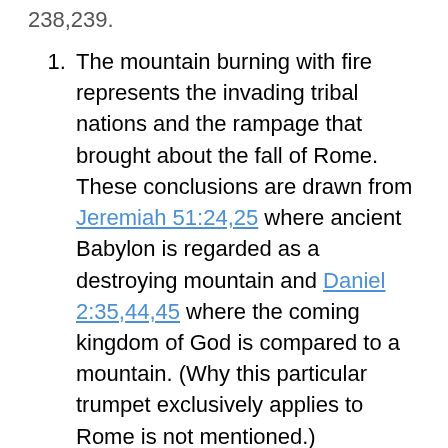238,239.
The mountain burning with fire represents the invading tribal nations and the rampage that brought about the fall of Rome. These conclusions are drawn from Jeremiah 51:24,25 where ancient Babylon is regarded as a destroying mountain and Daniel 2:35,44,45 where the coming kingdom of God is compared to a mountain. (Why this particular trumpet exclusively applies to Rome is not mentioned.)
The sea represents peoples, languages, multitudes and nations. (He uses Revelation 17:1,15 to support this interpretation.)
Without offering further biblical support, the living creatures in the sea and the ships are